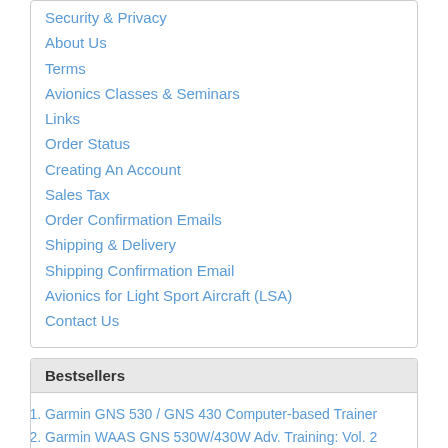Security & Privacy
About Us
Terms
Avionics Classes & Seminars
Links
Order Status
Creating An Account
Sales Tax
Order Confirmation Emails
Shipping & Delivery
Shipping Confirmation Email
Avionics for Light Sport Aircraft (LSA)
Contact Us
Bestsellers
Garmin GNS 530 / GNS 430 Computer-based Trainer
Garmin WAAS GNS 530W/430W Adv. Training: Vol. 2
Traffic Awareness - TAS/TCAS I Computer-based Trainer
GPS Trainer
Lightning Detection Systems Computer-based Trainer